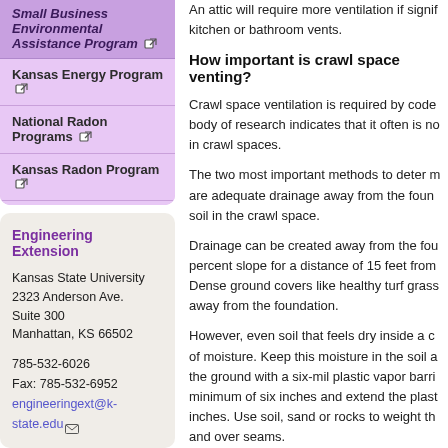Small Business Environmental Assistance Program
Kansas Energy Program
National Radon Programs
Kansas Radon Program
Radon Courses Online
Radon Training Workshops
Engineering Extension
Kansas State University
2323 Anderson Ave.
Suite 300
Manhattan, KS 66502
785-532-6026
Fax: 785-532-6952
engineeringext@k-state.edu
An attic will require more ventilation if signif kitchen or bathroom vents.
How important is crawl space venting?
Crawl space ventilation is required by code body of research indicates that it often is no in crawl spaces.
The two most important methods to deter m are adequate drainage away from the foun soil in the crawl space.
Drainage can be created away from the fou percent slope for a distance of 15 feet from Dense ground covers like healthy turf grass away from the foundation.
However, even soil that feels dry inside a c of moisture. Keep this moisture in the soil a the ground with a six-mil plastic vapor barri minimum of six inches and extend the plast inches. Use soil, sand or rocks to weight th and over seams.